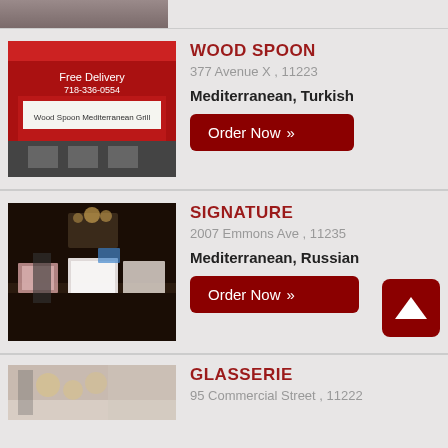[Figure (photo): Partial top strip showing bottom of a restaurant photo]
WOOD SPOON
377 Avenue X , 11223
Mediterranean, Turkish
[Figure (photo): Exterior photo of Wood Spoon restaurant with red awning showing menu items and phone number]
SIGNATURE
2007 Emmons Ave , 11235
Mediterranean, Russian
[Figure (photo): Interior photo of Signature restaurant showing dining tables with white tablecloths and dark wood paneling]
GLASSERIE
95 Commercial Street , 11222
[Figure (photo): Partial interior photo of Glasserie restaurant]